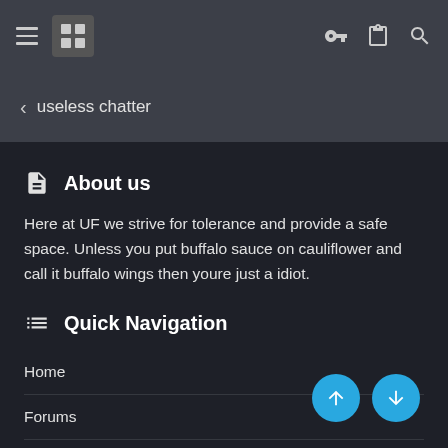Navigation bar with hamburger menu, logo, key icon, clipboard icon, and search icon
< useless chatter
About us
Here at UF we strive for tolerance and provide a safe space. Unless you put buffalo sauce on cauliflower and call it buffalo wings then youre just a idiot.
Quick Navigation
Home
Forums
Contact Us